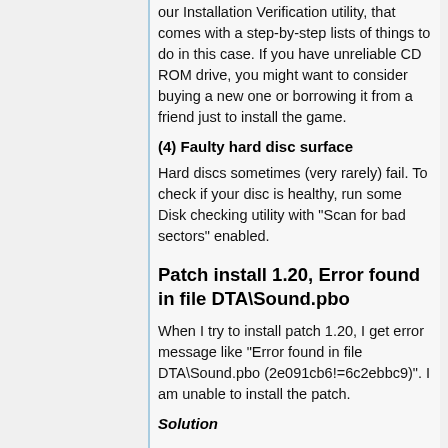our Installation Verification utility, that comes with a step-by-step lists of things to do in this case. If you have unreliable CD ROM drive, you might want to consider buying a new one or borrowing it from a friend just to install the game.
(4) Faulty hard disc surface
Hard discs sometimes (very rarely) fail. To check if your disc is healthy, run some Disk checking utility with "Scan for bad sectors" enabled.
Patch install 1.20, Error found in file DTA\Sound.pbo
When I try to install patch 1.20, I get error message like "Error found in file DTA\Sound.pbo (2e091cb6!=6c2ebbc9)". I am unable to install the patch.
Solution